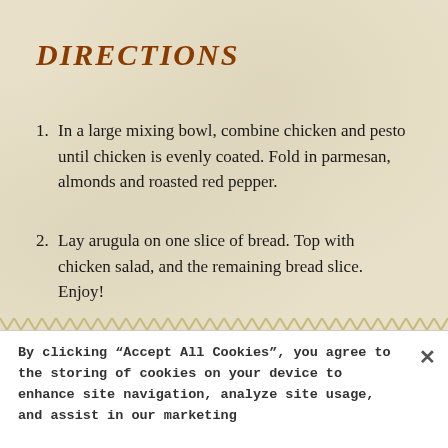DIRECTIONS
In a large mixing bowl, combine chicken and pesto until chicken is evenly coated. Fold in parmesan, almonds and roasted red pepper.
Lay arugula on one slice of bread. Top with chicken salad, and the remaining bread slice. Enjoy!
By clicking “Accept All Cookies”, you agree to the storing of cookies on your device to enhance site navigation, analyze site usage, and assist in our marketing